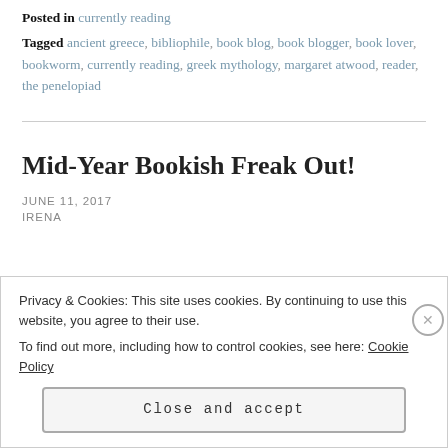Posted in currently reading
Tagged ancient greece, bibliophile, book blog, book blogger, book lover, bookworm, currently reading, greek mythology, margaret atwood, reader, the penelopiad
Mid-Year Bookish Freak Out!
JUNE 11, 2017
IRENA
Privacy & Cookies: This site uses cookies. By continuing to use this website, you agree to their use.
To find out more, including how to control cookies, see here: Cookie Policy
Close and accept